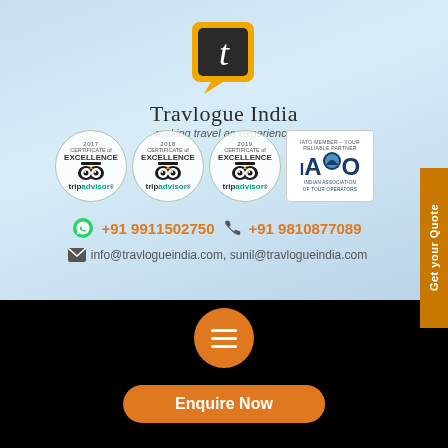[Figure (logo): Travlogue India logo with yellow speech bubble icon containing letter 't', company name 'Travlogue India', tagline 'making travel an experience']
[Figure (infographic): Three TripAdvisor Certificate of Excellence badges (2017, 2018, 2019) with owl icons, and IATO member badge (Indian Association of Tour Operators)]
+91 9911502750  +91 9810877089
info@travlogueindia.com, sunil@travlogueindia.com
[Figure (other): Get your Quote side button in orange]
[Figure (other): Orange hamburger menu circle button]
[Figure (other): Enquire Now orange rounded button]